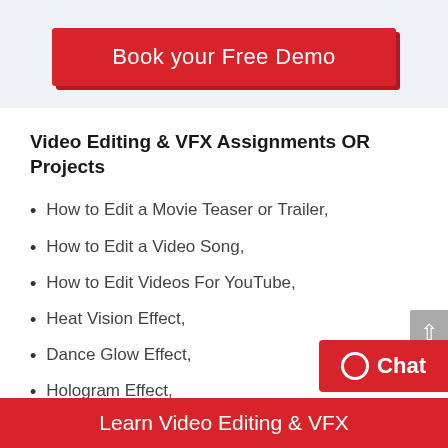[Figure (other): Red button labeled 'Book your Free Demo' on light blue background]
Video Editing & VFX Assignments OR Projects
How to Edit a Movie Teaser or Trailer,
How to Edit a Video Song,
How to Edit Videos For YouTube,
Heat Vision Effect,
Dance Glow Effect,
Hologram Effect,
Motion Graphics
Learn Video Editing & VFX